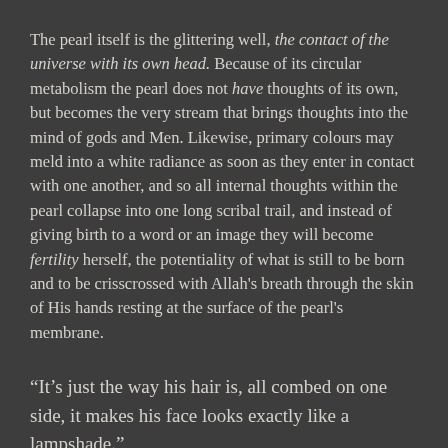The pearl itself is the glittering well, the contact of the universe with its own head. Because of its circular metabolism the pearl does not have thoughts of its own, but becomes the very stream that brings thoughts into the mind of gods and Men. Likewise, primary colours may meld into a white radiance as soon as they enter in contact with one another, and so all internal thoughts within the pearl collapse into one long scribal trail, and instead of giving birth to a word or an image they will become fertility herself, the potentiality of what is still to be born and to be crisscrossed with Allah's breath through the skin of His hands resting at the surface of the pearl's membrane.
“It’s just the way his hair is, all combed on one side, it makes his face looks exactly like a lampshade.”
This sentence is Cooper's beholdment of Allah swallowing calm mouthfuls of His pearl's pale pulsing